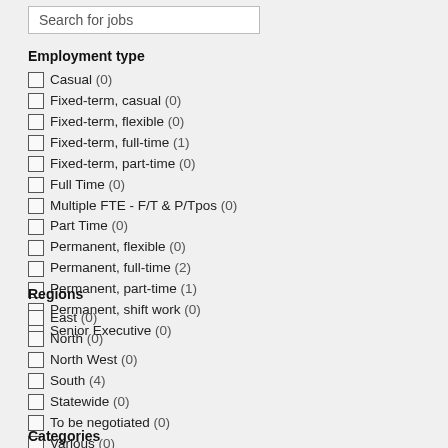Search for jobs
Employment type
Casual (0)
Fixed-term, casual (0)
Fixed-term, flexible (0)
Fixed-term, full-time (1)
Fixed-term, part-time (0)
Full Time (0)
Multiple FTE - F/T & P/Tpos (0)
Part Time (0)
Permanent, flexible (0)
Permanent, full-time (2)
Permanent, part-time (1)
Permanent, shift work (0)
Senior Executive (0)
Regions
East (0)
North (0)
North West (0)
South (4)
Statewide (0)
To be negotiated (0)
Various (0)
Categories